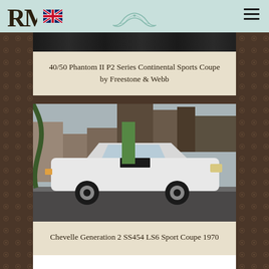RM | UK flag | menu icon
40/50 Phantom II P2 Series Continental Sports Coupe by Freestone & Webb
[Figure (photo): Chevrolet Chevelle muscle car, white with black stripes, parked on a street with industrial buildings in the background]
Chevelle Generation 2 SS454 LS6 Sport Coupe 1970